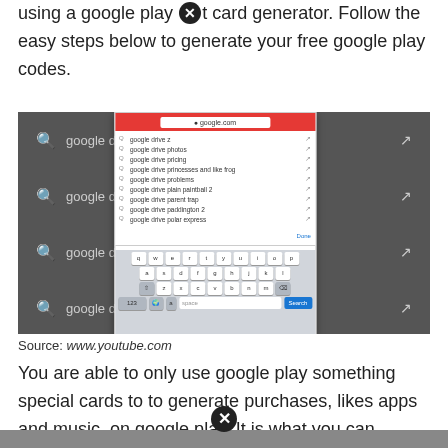using a google play ✕t card generator. Follow the easy steps below to generate your free google play codes.
[Figure (screenshot): Screenshot of a mobile browser showing Google Drive search autocomplete suggestions on an iPhone, with keyboard visible]
Source: www.youtube.com
You are able to only use google play something special cards to to generate purchases, likes apps and music, on google play. It is what you can download most often with the google play blessing card code.